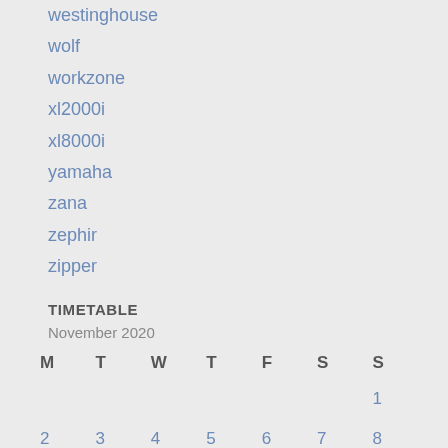westinghouse
wolf
workzone
xl2000i
xl8000i
yamaha
zana
zephir
zipper
TIMETABLE
November 2020
| M | T | W | T | F | S | S |
| --- | --- | --- | --- | --- | --- | --- |
|  |  |  |  |  |  | 1 |
| 2 | 3 | 4 | 5 | 6 | 7 | 8 |
| 9 | 10 | 11 | 12 | 13 | 14 | 15 |
| 16 | 17 | 18 | 19 | 20 | 21 | 22 |